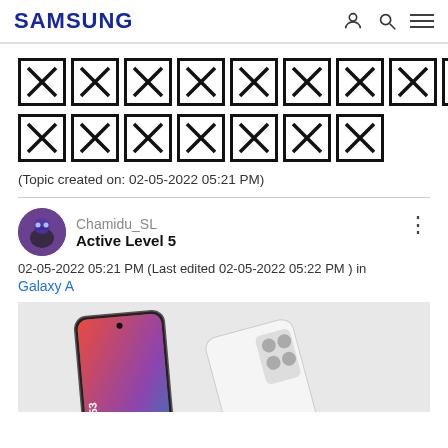SAMSUNG
[Figure (other): Row of 11 broken image placeholder icons (X in box)]
[Figure (other): Row of 7 broken image placeholder icons (X in box)]
(Topic created on: 02-05-2022 05:21 PM)
[Figure (other): User avatar for Chamidu_SL showing a stylized character]
Chamidu_SL
Active Level 5
02-05-2022 05:21 PM (Last edited 02-05-2022 05:22 PM ) in
Galaxy A
[Figure (photo): Samsung Galaxy A53 smartphone promotional image showing the device front and back]